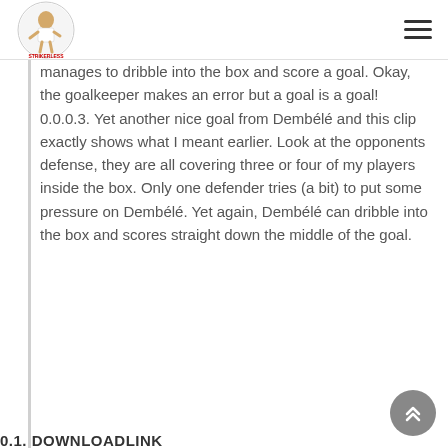Strikerless logo and hamburger menu
manages to dribble into the box and score a goal. Okay, the goalkeeper makes an error but a goal is a goal! 0.0.0.3. Yet another nice goal from Dembélé and this clip exactly shows what I meant earlier. Look at the opponents defense, they are all covering three or four of my players inside the box. Only one defender tries (a bit) to put some pressure on Dembélé. Yet again, Dembélé can dribble into the box and scores straight down the middle of the goal.
0.1. DOWNLOADLINK
0.1.0.0.1. Guido Merry – "Goddamn, what an effective tactic. It really